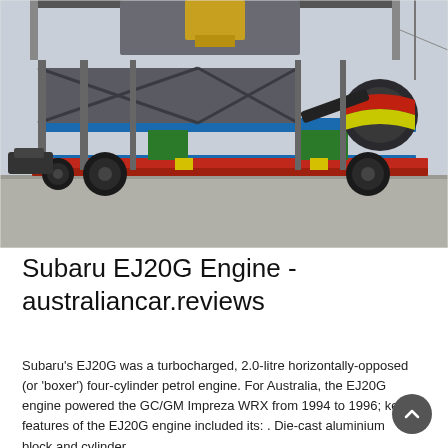[Figure (photo): A large industrial mobile concrete batching plant or heavy equipment mounted on a red flatbed trailer with wheels. The equipment features blue steel frames, green support structures, black conveyor belts, and a cylindrical drum on the right side. The background shows a paved area and a structure overhead.]
Subaru EJ20G Engine - australiancar.reviews
Subaru's EJ20G was a turbocharged, 2.0-litre horizontally-opposed (or 'boxer') four-cylinder petrol engine. For Australia, the EJ20G engine powered the GC/GM Impreza WRX from 1994 to 1996; key features of the EJ20G engine included its: . Die-cast aluminium block and cylinder